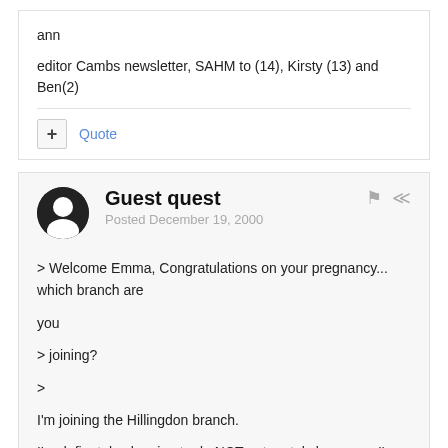ann
editor Cambs newsletter, SAHM to (14), Kirsty (13) and Ben(2)
Quote
Guest quest
Posted December 19, 2000
> Welcome Emma, Congratulations on your pregnancy... which branch are

you

> joining?

>

I'm joining the Hillingdon branch.

I'm definately planning to do NCT antenatal classes as I've heard such